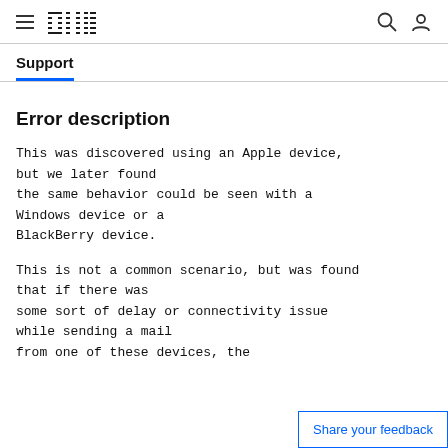[Figure (logo): IBM logo in top navigation bar with hamburger menu, search icon, and user icon]
Support
Error description
This was discovered using an Apple device, but we later found the same behavior could be seen with a Windows device or a BlackBerry device.
This is not a common scenario, but was found that if there was some sort of delay or connectivity issue while sending a mail from one of these devices, the
Share your feedback